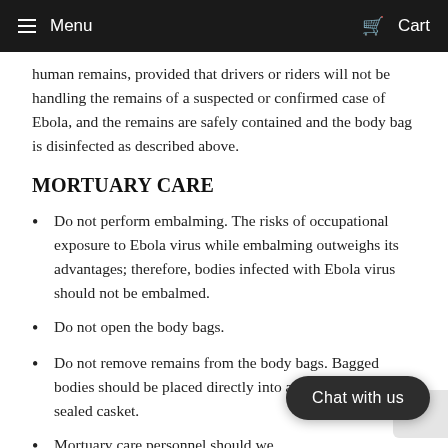Menu  Cart
human remains, provided that drivers or riders will not be handling the remains of a suspected or confirmed case of Ebola, and the remains are safely contained and the body bag is disinfected as described above.
MORTUARY CARE
Do not perform embalming. The risks of occupational exposure to Ebola virus while embalming outweighs its advantages; therefore, bodies infected with Ebola virus should not be embalmed.
Do not open the body bags.
Do not remove remains from the body bags. Bagged bodies should be placed directly into a hermetically sealed casket.
Mortuary care personnel should we... (surgical scrub suit, surgical cap, impervious gown with